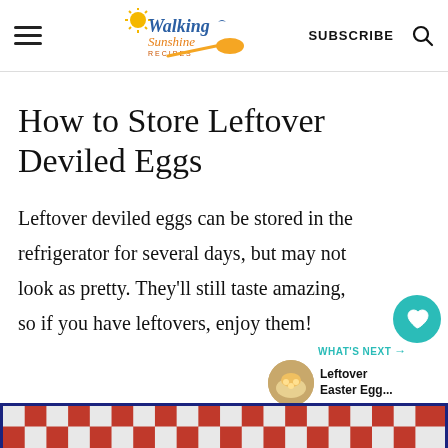Walking Sunshine Recipes | SUBSCRIBE
How to Store Leftover Deviled Eggs
Leftover deviled eggs can be stored in the refrigerator for several days, but may not look as pretty. They’ll still taste amazing, so if you have leftovers, enjoy them!
[Figure (photo): Bottom portion of a photo showing a red and white checkered cloth or tablecloth, partially visible at the bottom of the page.]